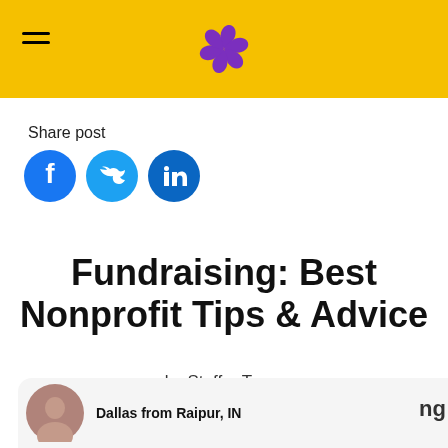Staffer — navigation header with logo
Share post
[Figure (illustration): Social share icons: Facebook (blue circle with f), Twitter (light blue circle with bird), LinkedIn (dark blue circle with 'in')]
Fundraising: Best Nonprofit Tips & Advice
by Staffer Team
Dallas from Raipur, IN